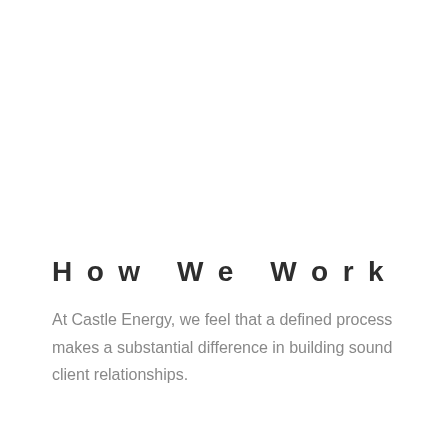How We Work
At Castle Energy, we feel that a defined process makes a substantial difference in building sound client relationships.